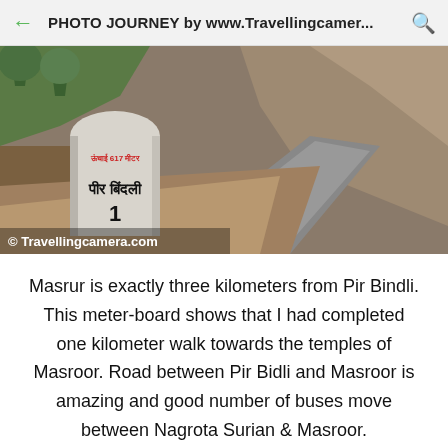PHOTO JOURNEY by www.Travellingcamer...
[Figure (photo): A white milestone stone with Hindi text and number 1 on a mountain road, with rocky hillside and trees in background. Watermark: © Travellingcamera.com]
Masrur is exactly three kilometers from Pir Bindli. This meter-board shows that I had completed one kilometer walk towards the temples of Masroor. Road between Pir Bidli and Masroor is amazing and good number of buses move between Nagrota Surian & Masroor.